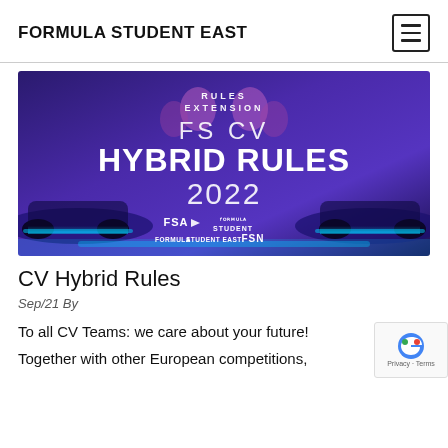FORMULA STUDENT EAST
[Figure (illustration): Banner image with blue/purple background showing Formula Student race cars and text: RULES EXTENSION, FS CV, HYBRID RULES 2022, with logos for FSA, Formula Student, Formula Student East, FSN]
CV Hybrid Rules
Sep/21 By
To all CV Teams: we care about your future!
Together with other European competitions,